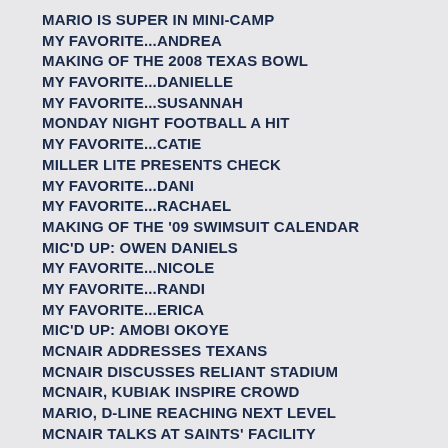MARIO IS SUPER IN MINI-CAMP
MY FAVORITE...ANDREA
MAKING OF THE 2008 TEXAS BOWL
MY FAVORITE...DANIELLE
MY FAVORITE...SUSANNAH
MONDAY NIGHT FOOTBALL A HIT
MY FAVORITE...CATIE
MILLER LITE PRESENTS CHECK
MY FAVORITE...DANI
MY FAVORITE...RACHAEL
MAKING OF THE '09 SWIMSUIT CALENDAR
MIC'D UP: OWEN DANIELS
MY FAVORITE...NICOLE
MY FAVORITE...RANDI
MY FAVORITE...ERICA
MIC'D UP: AMOBI OKOYE
MCNAIR ADDRESSES TEXANS
MCNAIR DISCUSSES RELIANT STADIUM
MCNAIR, KUBIAK INSPIRE CROWD
MARIO, D-LINE REACHING NEXT LEVEL
MCNAIR TALKS AT SAINTS' FACILITY
MARIO IMPRESSES AGAINST SAINTS
MEET TERRI